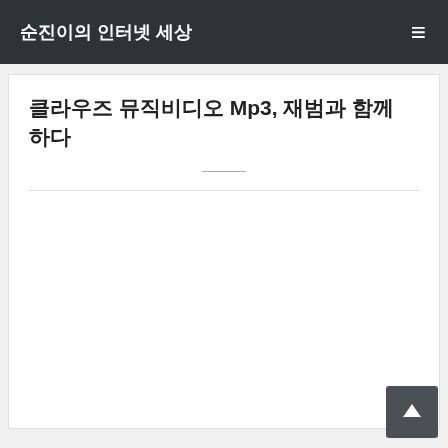순진이의 인터넷 세상
클라우즈 뮤직비디오 Mp3, 재범과 함께 하다